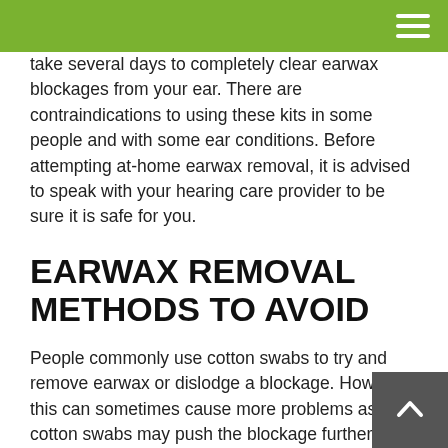take several days to completely clear earwax blockages from your ear. There are contraindications to using these kits in some people and with some ear conditions. Before attempting at-home earwax removal, it is advised to speak with your hearing care provider to be sure it is safe for you.
EARWAX REMOVAL METHODS TO AVOID
People commonly use cotton swabs to try and remove earwax or dislodge a blockage. However, this can sometimes cause more problems as cotton swabs may push the blockage further down in the ear canal, risking even more damage to the ear.